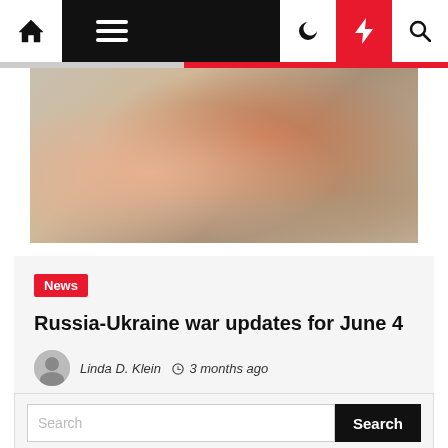Navigation bar with home, menu, dark mode, flash, and search icons
[Figure (photo): A person crouching or fallen on sandy ground, wearing an orange top, with their leg wrapped in bandages. The image appears to relate to injury or conflict-related news.]
News
Russia-Ukraine war updates for June 4
Linda D. Klein  3 months ago
Search